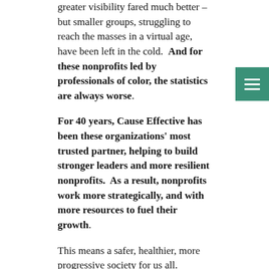greater visibility fared much better – but smaller groups, struggling to reach the masses in a virtual age, have been left in the cold. And for these nonprofits led by professionals of color, the statistics are always worse.
For 40 years, Cause Effective has been these organizations' most trusted partner, helping to build stronger leaders and more resilient nonprofits. As a result, nonprofits work more strategically, and with more resources to fuel their growth.
This means a safer, healthier, more progressive society for us all.
In the past year, Cause Effective